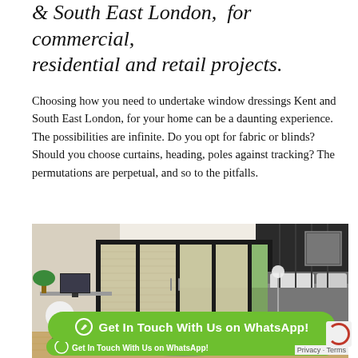& South East London, for commercial, residential and retail projects.
Choosing how you need to undertake window dressings Kent and South East London, for your home can be a daunting experience. The possibilities are infinite. Do you opt for fabric or blinds? Should you choose curtains, heading, poles against tracking? The permutations are perpetual, and so to the pitfalls.
[Figure (photo): Modern bedroom with large black-framed bi-fold or sliding doors fitted with honeycomb/cellular blinds in a neutral tone, dark wood panelled walls, a bed with grey bedding, a work desk with monitor on the left, and a decorative rug on a light wood floor.]
Get In Touch With Us on WhatsApp!
Privacy · Terms